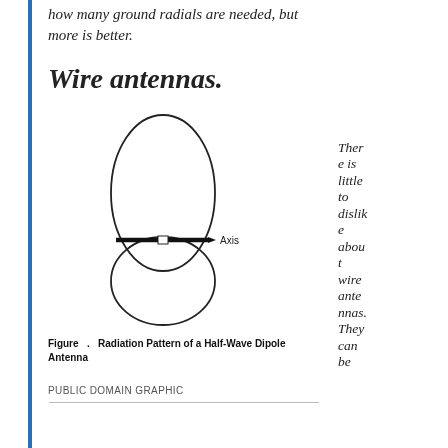how many ground radials are needed, but more is better.
Wire antennas.
[Figure (illustration): Radiation pattern diagram of a half-wave dipole antenna showing two oval lobes (figure-8 pattern) with a horizontal axis arrow labeled 'Axis' at the center.]
Figure   .   Radiation Pattern of a Half-Wave Dipole Antenna
PUBLIC DOMAIN GRAPHIC
There is little to dislike about wire antennas. They can be